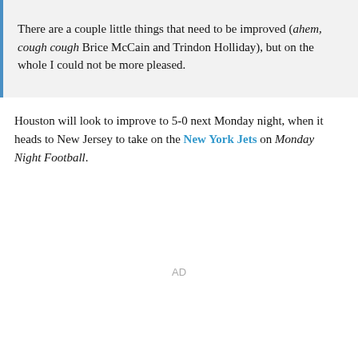There are a couple little things that need to be improved (ahem, cough cough Brice McCain and Trindon Holliday), but on the whole I could not be more pleased.
Houston will look to improve to 5-0 next Monday night, when it heads to New Jersey to take on the New York Jets on Monday Night Football.
AD